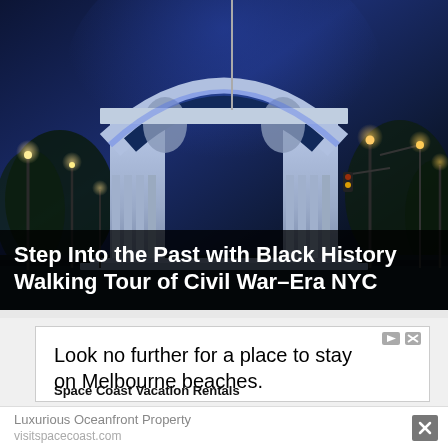[Figure (photo): Night photograph of a large triumphal arch monument (Grand Army Plaza, Brooklyn, NYC) illuminated in blue and white lights, with street lamps and trees visible in the background against a dark evening sky.]
Step Into the Past with Black History Walking Tour of Civil War–Era NYC
Look no further for a place to stay on Melbourne beaches.
Space Coast Vacation Rentals
Luxurious Oceanfront Property
visitspacecoast.com